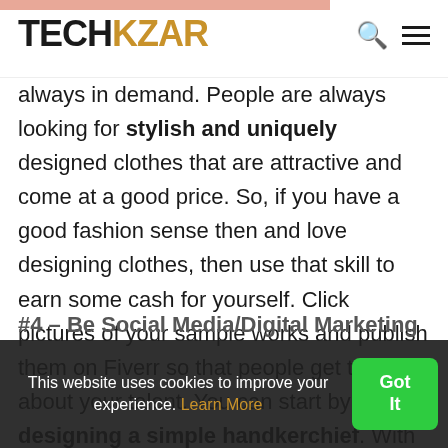TECHKZAR
always in demand. People are always looking for stylish and uniquely designed clothes that are attractive and come at a good price. So, if you have a good fashion sense then and love designing clothes, then use that skill to earn some cash for yourself. Click pictures of your sample works and publish them on Fiverr so that people get to know about your talent. You can start by designing a simple handkerchief. With this one of the best Fiverr ideas, you'll surely get a good amount of responses.
This website uses cookies to improve your experience. Learn More
#4 – Be Social Media/Digital Marketing